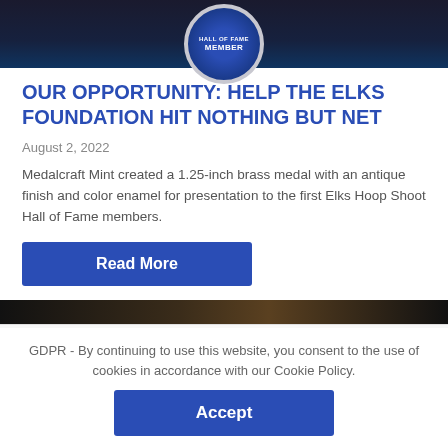[Figure (photo): Dark background image with a circular Hall of Fame Member badge/medallion at the top center]
OUR OPPORTUNITY: HELP THE ELKS FOUNDATION HIT NOTHING BUT NET
August 2, 2022
Medalcraft Mint created a 1.25-inch brass medal with an antique finish and color enamel for presentation to the first Elks Hoop Shoot Hall of Fame members.
[Figure (other): Read More button - dark blue rectangular button with white bold text]
[Figure (photo): Partial dark image visible at bottom of page content area]
GDPR - By continuing to use this website, you consent to the use of cookies in accordance with our Cookie Policy.
[Figure (other): Accept button - dark blue rectangular button with white bold text]